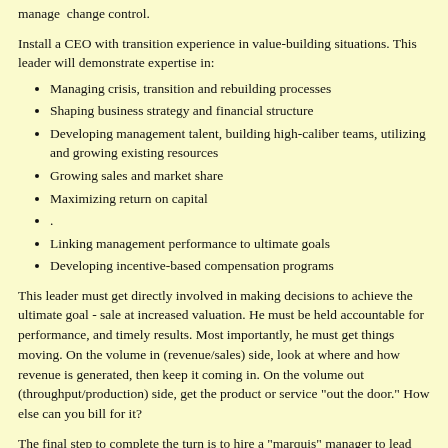manage change control.
Install a CEO with transition experience in value-building situations. This leader will demonstrate expertise in:
Managing crisis, transition and rebuilding processes
Shaping business strategy and financial structure
Developing management talent, building high-caliber teams, utilizing and growing existing resources
Growing sales and market share
Maximizing return on capital
.
Linking management performance to ultimate goals
Developing incentive-based compensation programs
This leader must get directly involved in making decisions to achieve the ultimate goal - sale at increased valuation. He must be held accountable for performance, and timely results. Most importantly, he must get things moving. On the volume in (revenue/sales) side, look at where and how revenue is generated, then keep it coming in. On the volume out (throughput/production) side, get the product or service "out the door." How else can you bill for it?
The final step to complete the turn is to hire a "marquis" manager to lead the enduring team. This permanent team adds to the value